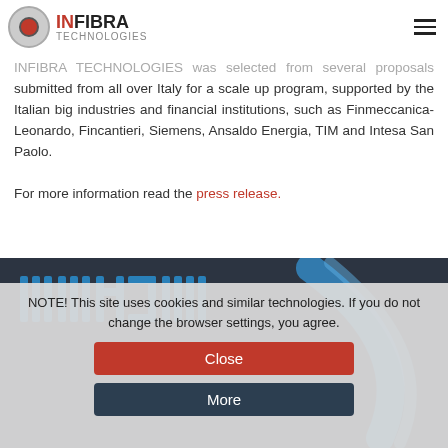INFIBRA TECHNOLOGIES awarded by BCI Foundation
INFIBRA TECHNOLOGIES [logo] [hamburger menu]
INFIBRA TECHNOLOGIES was selected from several proposals submitted from all over Italy for a scale up program, supported by the Italian big industries and financial institutions, such as Finmeccanica-Leonardo, Fincantieri, Siemens, Ansaldo Energia, TIM and Intesa San Paolo.
For more information read the press release.
[Figure (photo): Dark background image with blue stylized text/logo reading something like 'ULBHOS' or similar, and a blue curved object on the right side. Background is dark navy/charcoal.]
NOTE! This site uses cookies and similar technologies. If you do not change the browser settings, you agree.